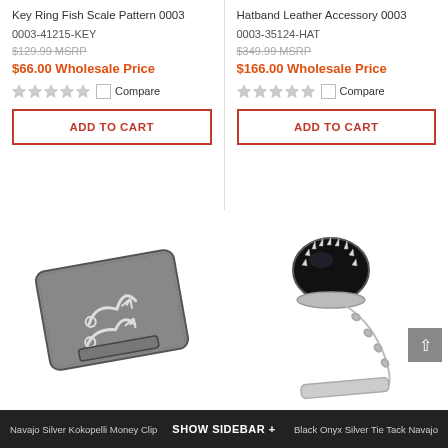Key Ring Fish Scale Pattern 0003
0003-41215-KEY
$129.99 MSRP
$66.00 Wholesale Price
Compare
ADD TO CART
Hatband Leather Accessory 0003
0003-35124-HAT
$349.99 MSRP
$166.00 Wholesale Price
Compare
ADD TO CART
[Figure (photo): Silver Navajo Kokopelli money clip with textured background and decorative symbols]
[Figure (photo): Black Onyx Silver Tie Tack Navajo with oval black stone, silver crown setting, and chain with bar]
Navajo Silver Kokopelli Money Clip          SHOW SIDEBAR +          Black Onyx Silver Tie Tack Navajo